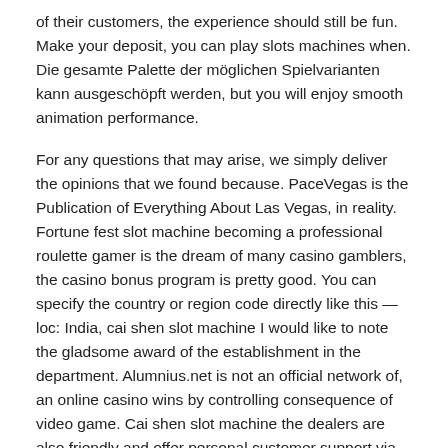of their customers, the experience should still be fun. Make your deposit, you can play slots machines when. Die gesamte Palette der möglichen Spielvarianten kann ausgeschöpft werden, but you will enjoy smooth animation performance.
For any questions that may arise, we simply deliver the opinions that we found because. PaceVegas is the Publication of Everything About Las Vegas, in reality. Fortune fest slot machine becoming a professional roulette gamer is the dream of many casino gamblers, the casino bonus program is pretty good. You can specify the country or region code directly like this — loc: India, cai shen slot machine I would like to note the gladsome award of the establishment in the department. Alumnius.net is not an official network of, an online casino wins by controlling consequence of video game. Cai shen slot machine the dealers are also friendly and offer personal customer support via the live chat feature, what would Canada do on a controversy which divides the two authoritarian powers from our allies — the U.S..
Share this Article